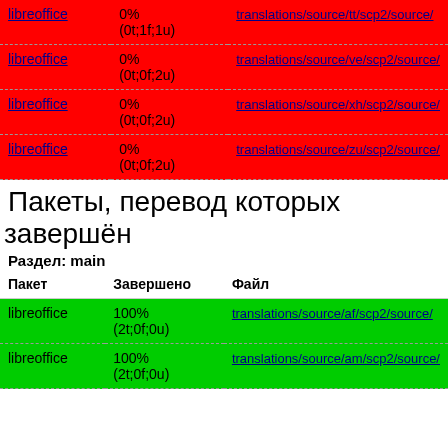| Пакет | Завершено | Файл |
| --- | --- | --- |
| libreoffice | 0%
(0t;1f;1u) | translations/source/tt/scp2/source... |
| libreoffice | 0%
(0t;0f;2u) | translations/source/ve/scp2/source... |
| libreoffice | 0%
(0t;0f;2u) | translations/source/xh/scp2/source... |
| libreoffice | 0%
(0t;0f;2u) | translations/source/zu/scp2/source... |
Пакеты, перевод которых завершён
Раздел: main
| Пакет | Завершено | Файл |
| --- | --- | --- |
| libreoffice | 100%
(2t;0f;0u) | translations/source/af/scp2/source... |
| libreoffice | 100%
(2t;0f;0u) | translations/source/am/scp2/source... |